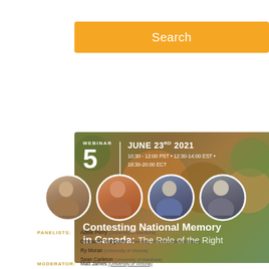[Figure (other): Orange search button with white text 'Search']
[Figure (infographic): Webinar 5 banner: JUNE 23RD 2021, 10:30-12:00 PST · 12:30-14:00 EST · 18:30-20:00 ECT. Title: Contesting National Memory in Canada: The Role of the Right. Camouflage-style green/brown background with four circular profile photos of panelists at bottom.]
PANELISTS: Adele Perry (University of Manitoba)
Omeasoo Wahpasiw (University of Prince Edward Island)
Ry Moran (University of Victoria)
Sean Carleton (University of Manitoba)
Moderator: Matt James (University of Victoria)